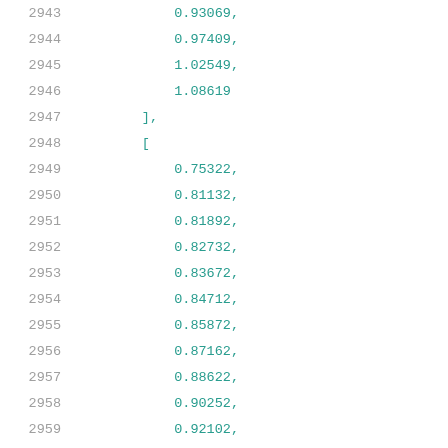2943    0.93069,
2944    0.97409,
2945    1.02549,
2946    1.08619
2947    ],
2948    [
2949        0.75322,
2950        0.81132,
2951        0.81892,
2952        0.82732,
2953        0.83672,
2954        0.84712,
2955        0.85872,
2956        0.87162,
2957        0.88622,
2958        0.90252,
2959        0.92102,
2960        0.94202,
2961        0.96602,
2962        0.99352,
2963        1.02542,
2964        1.06352,